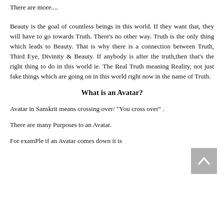There are more....
Beauty is the goal of countless beings in this world. If they want that, they will have to go towards Truth. There's no other way. Truth is the only thing which leads to Beauty. That is why there is a connection between Truth, Third Eye, Divinity & Beauty. If anybody is after the truth,then that's the right thing to do in this world ie. The Real Truth meaning Reality, not just fake things which are going on in this world right now in the name of Truth.
What is an Avatar?
Avatar in Sanskrit means crossing over/ "You cross over" .
There are many Purposes to an Avatar.
For examPle if an Avatar comes down it is